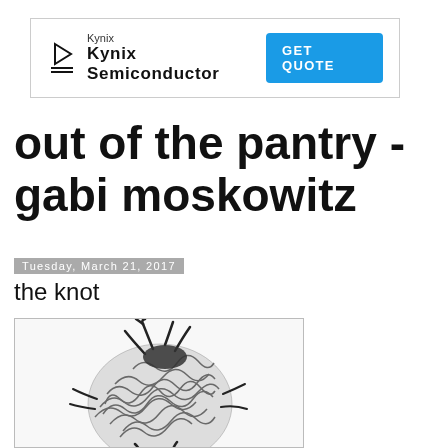[Figure (other): Kynix Semiconductor advertisement banner with logo icon, text 'Kynix' and 'Kynix Semiconductor', and a blue 'GET QUOTE' button]
out of the pantry - gabi moskowitz
Tuesday, March 21, 2017
the knot
[Figure (illustration): Black and white illustration of a dense tangle of worm-like creatures forming a ball shape, with limbs protruding from the top and sides]